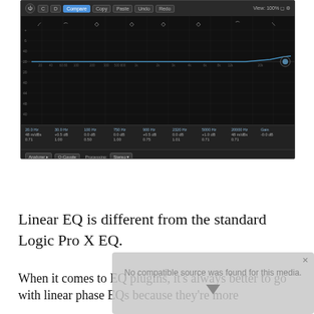[Figure (screenshot): Screenshot of Logic Pro X Linear Phase EQ plugin interface showing an equalizer curve across frequency spectrum with multiple band controls at the bottom displaying frequency, gain, and Q values. The interface has a dark theme with controls for Compare, Copy, Paste, Undo, Redo, and a Stereo processing mode selector.]
Linear EQ is different from the standard Logic Pro X EQ.
When it comes to EQ plugins, it's always better to go with linear phase EQs because they're more